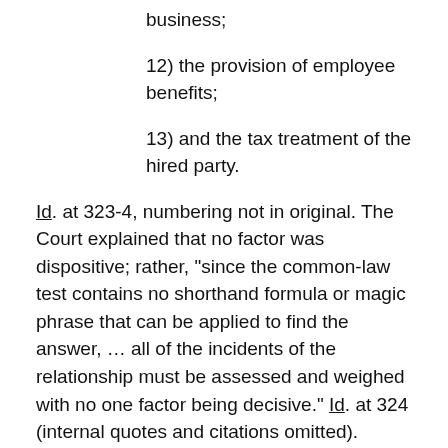business;
12) the provision of employee benefits;
13) and the tax treatment of the hired party.
Id. at 323-4, numbering not in original. The Court explained that no factor was dispositive; rather, "since the common-law test contains no shorthand formula or magic phrase that can be applied to find the answer, … all of the incidents of the relationship must be assessed and weighed with no one factor being decisive." Id. at 324 (internal quotes and citations omitted).